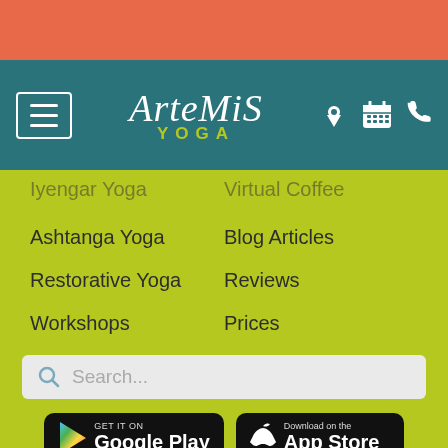[Figure (screenshot): Orange top bar of a mobile app]
[Figure (logo): Artemis Yoga logo on teal navigation bar with hamburger menu and icons for location, calendar, and phone]
Iyengar Yoga (partially visible)
Virtual Coffee (partially visible)
Ashtanga Yoga
Blog Articles
Restorative Yoga
Reviews
Workshops
Prices
[Figure (screenshot): Search bar with placeholder text 'Search...']
[Figure (screenshot): GET IT ON Google Play and Download on the App Store buttons]
[Figure (screenshot): Social media icons: Instagram, Facebook, Twitter, YouTube]